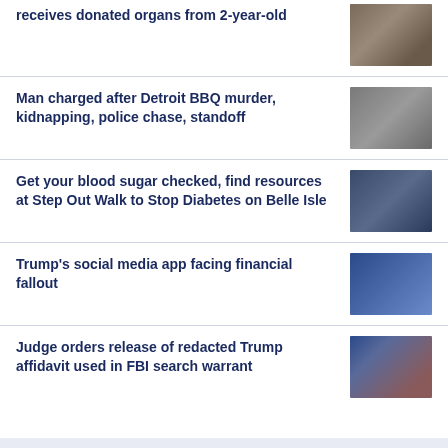receives donated organs from 2-year-old
[Figure (photo): Blurred photo thumbnail for organ donation story]
Man charged after Detroit BBQ murder, kidnapping, police chase, standoff
[Figure (photo): Blurred photo thumbnail of a man]
Get your blood sugar checked, find resources at Step Out Walk to Stop Diabetes on Belle Isle
[Figure (photo): Blurred photo thumbnail for diabetes walk story]
Trump's social media app facing financial fallout
[Figure (photo): Blurred photo thumbnail of Trump]
Judge orders release of redacted Trump affidavit used in FBI search warrant
[Figure (photo): Blurred photo thumbnail of Trump at event]